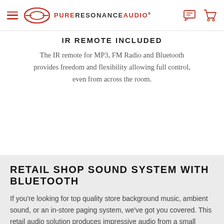Pure Resonance Audio
IR REMOTE INCLUDED
The IR remote for MP3, FM Radio and Bluetooth provides freedom and flexibility allowing full control, even from across the room.
RETAIL SHOP SOUND SYSTEM WITH BLUETOOTH
If you're looking for top quality store background music, ambient sound, or an in-store paging system, we've got you covered. This retail audio solution produces impressive audio from a small speaker with broad, even coverage and features adjustable multi-angle mounting